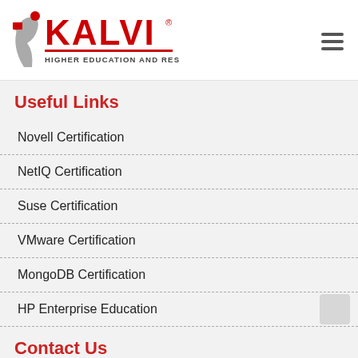[Figure (logo): Kalvi Higher Education and Research Institute logo with red text and figure icon]
Useful Links
Novell Certification
NetIQ Certification
Suse Certification
VMware Certification
MongoDB Certification
HP Enterprise Education
Contact Us